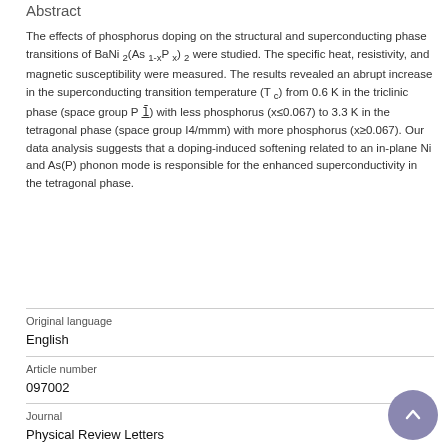Abstract
The effects of phosphorus doping on the structural and superconducting phase transitions of BaNi 2(As 1-xP x) 2 were studied. The specific heat, resistivity, and magnetic susceptibility were measured. The results revealed an abrupt increase in the superconducting transition temperature (T c) from 0.6 K in the triclinic phase (space group P 1̄) with less phosphorus (x≤0.067) to 3.3 K in the tetragonal phase (space group I4/mmm) with more phosphorus (x≥0.067). Our data analysis suggests that a doping-induced softening related to an in-plane Ni and As(P) phonon mode is responsible for the enhanced superconductivity in the tetragonal phase.
Original language
English
Article number
097002
Journal
Physical Review Letters
Volume